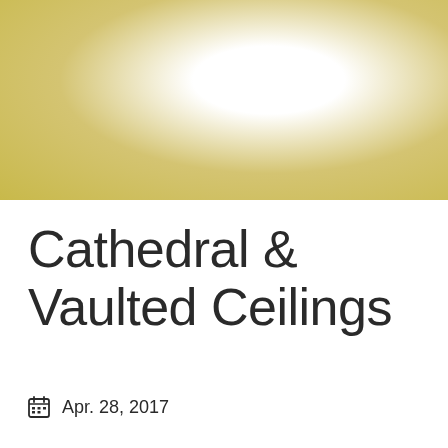[Figure (illustration): Golden radial gradient banner filling the top portion of the page, transitioning from gold/yellow on the left and right edges to white in the center]
Cathedral & Vaulted Ceilings
Apr. 28, 2017